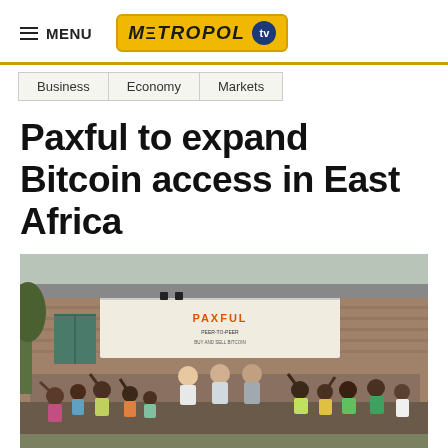MENU | METROPOL tv
Business
Economy
Markets
Paxful to expand Bitcoin access in East Africa
[Figure (photo): Group of children and adults standing in front of a brick building with a Paxful banner/sign, celebrating with raised hands. A 'PAXFUL' branded banner is visible on the building wall.]